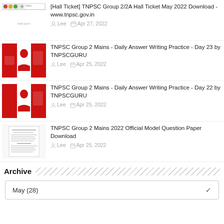[Hall Ticket] TNPSC Group 2/2A Hall Ticket May 2022 Download - www.tnpsc.gov.in
Lee  Apr 27, 2022
TNPSC Group 2 Mains - Daily Answer Writing Practice - Day 23 by TNPSCGURU
Lee  Apr 25, 2022
TNPSC Group 2 Mains - Daily Answer Writing Practice - Day 22 by TNPSCGURU
Lee  Apr 25, 2022
TNPSC Group 2 Mains 2022 Official Model Question Paper Download
Lee  Apr 25, 2022
Archive
May (28)